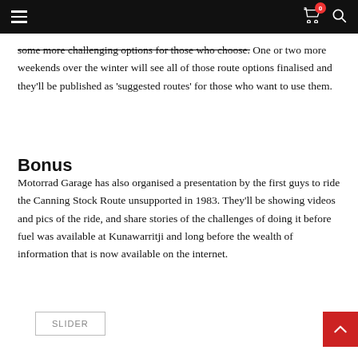Navigation bar with hamburger menu, cart icon (0), and search icon
some more challenging options for those who choose. One or two more weekends over the winter will see all of those route options finalised and they'll be published as 'suggested routes' for those who want to use them.
Bonus
Motorrad Garage has also organised a presentation by the first guys to ride the Canning Stock Route unsupported in 1983. They'll be showing videos and pics of the ride, and share stories of the challenges of doing it before fuel was available at Kunawarritji and long before the wealth of information that is now available on the internet.